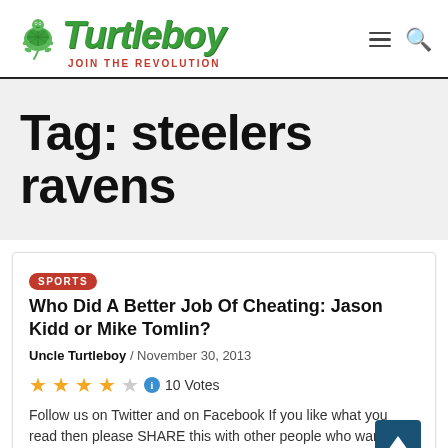[Figure (logo): Turtleboy Sports logo with green cartoon turtle and green script 'Turtleboy' text, red tagline 'JOIN THE REVOLUTION']
Tag: steelers ravens
Who Did A Better Job Of Cheating: Jason Kidd or Mike Tomlin?
Uncle Turtleboy / November 30, 2013
10 Votes
Follow us on Twitter and on Facebook If you like what you read then please SHARE this with other people who want an alternative to...